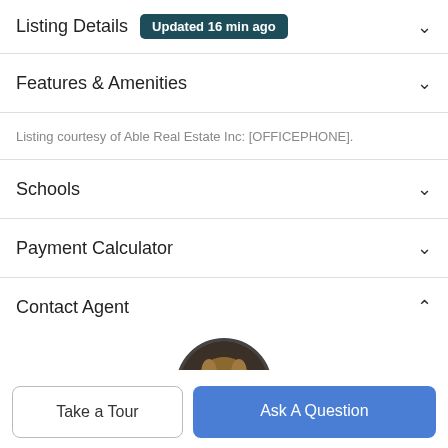Listing Details
Updated 16 min ago
Features & Amenities
Listing courtesy of Able Real Estate Inc: [OFFICEPHONE].
Schools
Payment Calculator
Contact Agent
[Figure (photo): Circular profile photo of a blonde woman smiling]
Take a Tour
Ask A Question